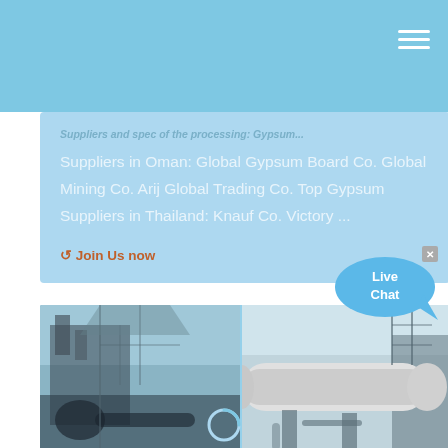[Figure (screenshot): Website navigation bar with light blue background and white hamburger menu icon in top right corner]
Suppliers in Oman: Global Gypsum Board Co. Global Mining Co. Arij Global Trading Co. Top Gypsum Suppliers in Thailand: Knauf Co. Victory ...
Join Us now
[Figure (other): Live Chat speech bubble widget in blue with white text]
[Figure (photo): Two industrial facility photos side by side showing mining/processing equipment including conveyor belts, cylindrical rotary kilns, and metal scaffolding structures, rendered with blue overlay tint]